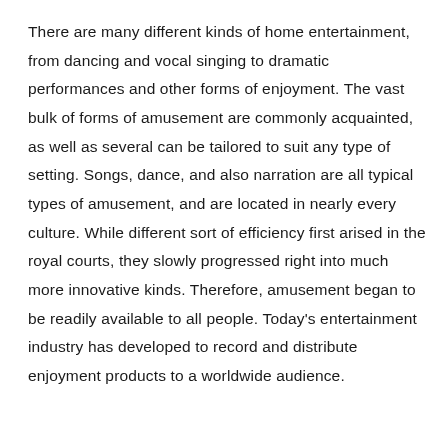There are many different kinds of home entertainment, from dancing and vocal singing to dramatic performances and other forms of enjoyment. The vast bulk of forms of amusement are commonly acquainted, as well as several can be tailored to suit any type of setting. Songs, dance, and also narration are all typical types of amusement, and are located in nearly every culture. While different sort of efficiency first arised in the royal courts, they slowly progressed right into much more innovative kinds. Therefore, amusement began to be readily available to all people. Today's entertainment industry has developed to record and distribute enjoyment products to a worldwide audience.